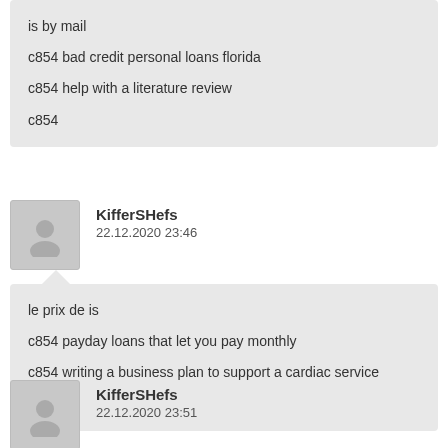is by mail
c854 bad credit personal loans florida
c854 help with a literature review
c854
[Figure (illustration): User avatar placeholder with silhouette icon]
KifferSHefs
22.12.2020 23:46
le prix de is
c854 payday loans that let you pay monthly
c854 writing a business plan to support a cardiac service
c854
[Figure (illustration): User avatar placeholder with silhouette icon]
KifferSHefs
22.12.2020 23:51